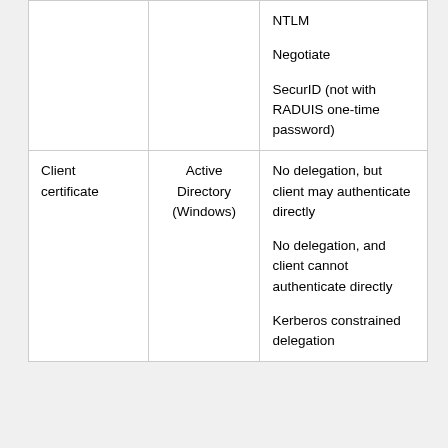|  |  | NTLM

Negotiate

SecurID (not with RADUIS one-time password) |
| Client certificate | Active Directory (Windows) | No delegation, but client may authenticate directly

No delegation, and client cannot authenticate directly

Kerberos constrained delegation |